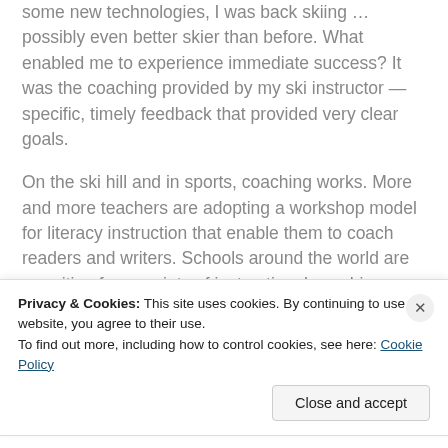some new technologies, I was back skiing … possibly even better skier than before. What enabled me to experience immediate success?  It was the coaching provided by my ski instructor — specific, timely feedback that provided very clear goals.
On the ski hill and in sports, coaching works.  More and more teachers are adopting a workshop model for literacy instruction that enable them to coach readers and writers.  Schools around the world are recruiting for a variety of instructional coaching positions… learning, literacy, math, science, cognitive
Privacy & Cookies: This site uses cookies. By continuing to use this website, you agree to their use.
To find out more, including how to control cookies, see here: Cookie Policy